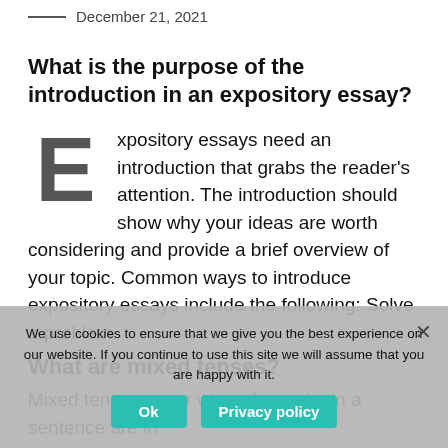December 21, 2021
What is the purpose of the introduction in an expository essay?
Expository essays need an introduction that grabs the reader's attention. The introduction should show why your ideas are worth considering and provide a brief overview of your topic. Common ways to introduce expository essays include the following: Solve a problem.
What are mixed tenses?
Mixed tenses occur when the verbs in a sentence are in
We use cookies to ensure that we give you the best experience on our website. If you continue to use this site we will assume that you are happy with it.